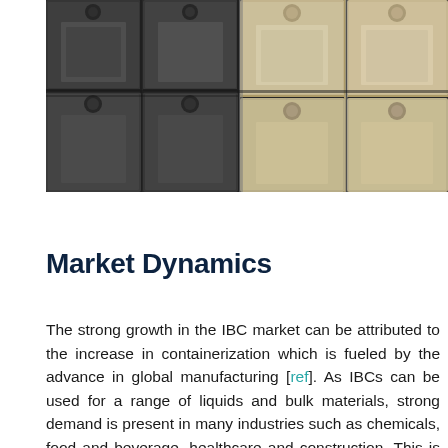[Figure (photo): Stacked industrial IBC (Intermediate Bulk Container) tanks/containers in grey and beige/cream colors, viewed from a low angle against a building structure.]
Market Dynamics
The strong growth in the IBC market can be attributed to the increase in containerization which is fueled by the advance in global manufacturing [ref]. As IBCs can be used for a range of liquids and bulk materials, strong demand is present in many industries such as chemicals, food and beverage, healthcare and construction. This is leading to a range of standardized IBC containers such as UN-rated [ref] or